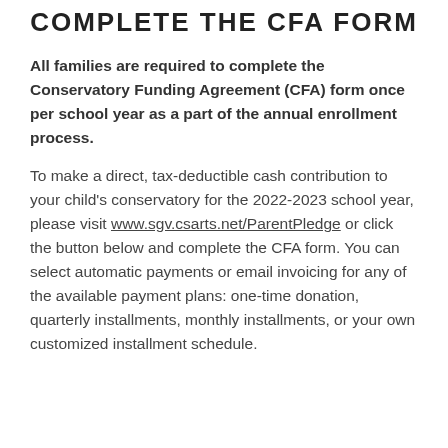COMPLETE THE CFA FORM
All families are required to complete the Conservatory Funding Agreement (CFA) form once per school year as a part of the annual enrollment process.
To make a direct, tax-deductible cash contribution to your child's conservatory for the 2022-2023 school year, please visit www.sgv.csarts.net/ParentPledge or click the button below and complete the CFA form. You can select automatic payments or email invoicing for any of the available payment plans: one-time donation, quarterly installments, monthly installments, or your own customized installment schedule.